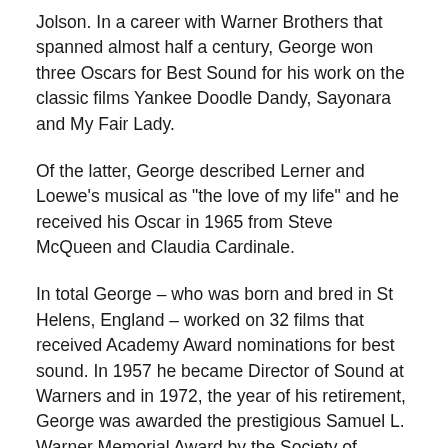Jolson. In a career with Warner Brothers that spanned almost half a century, George won three Oscars for Best Sound for his work on the classic films Yankee Doodle Dandy, Sayonara and My Fair Lady.
Of the latter, George described Lerner and Loewe's musical as "the love of my life" and he received his Oscar in 1965 from Steve McQueen and Claudia Cardinale.
In total George – who was born and bred in St Helens, England – worked on 32 films that received Academy Award nominations for best sound. In 1957 he became Director of Sound at Warners and in 1972, the year of his retirement, George was awarded the prestigious Samuel L. Warner Memorial Award by the Society of Motion Picture & Television Engineers. This was presented to him by his old boss, Jack Warner,